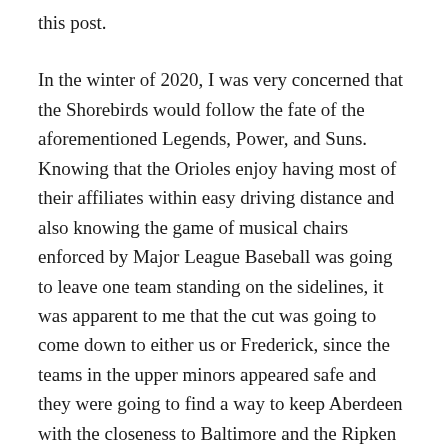this post.
In the winter of 2020, I was very concerned that the Shorebirds would follow the fate of the aforementioned Legends, Power, and Suns. Knowing that the Orioles enjoy having most of their affiliates within easy driving distance and also knowing the game of musical chairs enforced by Major League Baseball was going to leave one team standing on the sidelines, it was apparent to me that the cut was going to come down to either us or Frederick, since the teams in the upper minors appeared safe and they were going to find a way to keep Aberdeen with the closeness to Baltimore and the Ripken influence. As it happened, Frederick was the